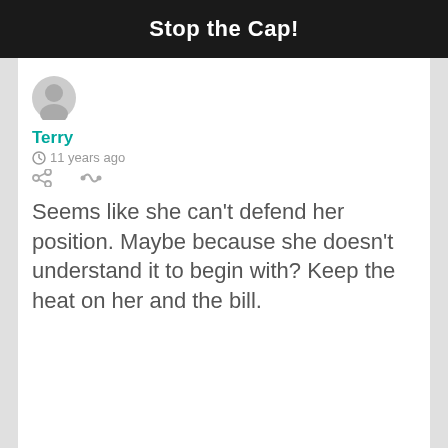Stop the Cap!
Terry
11 years ago
Seems like she can't defend her position. Maybe because she doesn't understand it to begin with? Keep the heat on her and the bill.